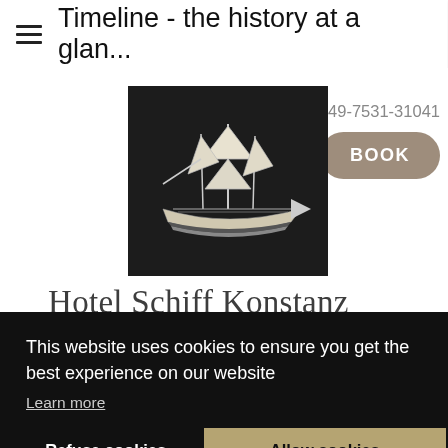≡ Timeline - the history at a glan...
+49-7531-31041
BOOK
[Figure (logo): Hotel Schiff Konstanz logo: white sailing ship illustration on black background]
Hotel Schiff Konstanz
This website uses cookies to ensure you get the best experience on our website
Learn more
Refuse cookies
Allow cookies
[Figure (photo): Historical black and white photograph of buildings, partially visible at bottom of page]